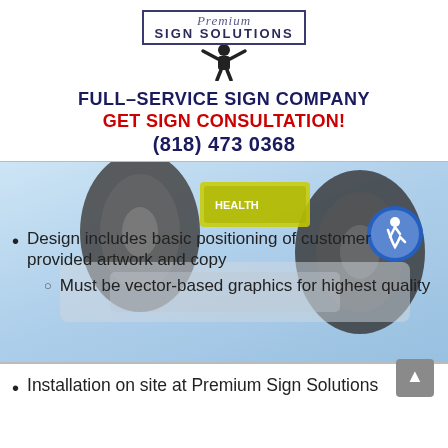[Figure (logo): Premium Sign Solutions logo with figure holding sign overhead]
FULL-SERVICE SIGN COMPANY
GET SIGN CONSULTATION!
(818) 473 0368
[Figure (photo): Vehicle wrap/sign installation photo with car viewed from below showing tires and a sign]
Design includes basic positioning of customer provided artwork and copy
Must be vector-based graphics for highest quality
Installation on site at Premium Sign Solutions